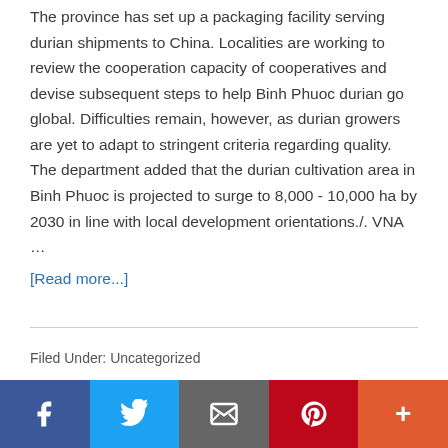The province has set up a packaging facility serving durian shipments to China. Localities are working to review the cooperation capacity of cooperatives and devise subsequent steps to help Binh Phuoc durian go global. Difficulties remain, however, as durian growers are yet to adapt to stringent criteria regarding quality. The department added that the durian cultivation area in Binh Phuoc is projected to surge to 8,000 - 10,000 ha by 2030 in line with local development orientations./. VNA …
[Read more...]
Filed Under: Uncategorized